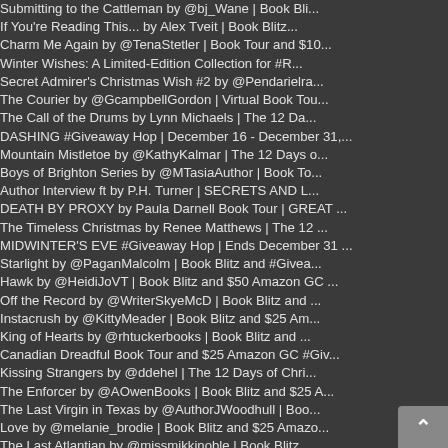Submitting to the Cattleman by @bj_Wane | Book Bli...
If You're Reading This... by Alex Tveit | Book Blitz...
Charm Me Again by @TenaStetler | Book Tour and $10...
Winter Wishes: A Limited-Edition Collection for #R...
Secret Admirer's Christmas Wish #2 by @Pendarielra...
The Courier by @GcampbellGordon | Virtual Book Tou...
The Call of the Drums by Lynn Michaels | The 12 Da...
DASHING #Giveaway Hop | December 16 - December 31,...
Mountain Mistletoe by @KathyKalmar | The 12 Days o...
Boys of Brighton Series by @MTasiaAuthor | Book To...
Author Interview ft by P.H. Turner | SECRETS AND L...
DEATH BY PROXY by Paula Darnell Book Tour | GREAT ...
The Timeless Christmas by Renee Matthews | The 12 ...
MIDWINTER'S EVE #Giveaway Hop | Ends December 31 ...
Starlight by @PaganMalcolm | Book Blitz and #Givea...
Hawk by @HeidiJoVT | Book Blitz and $50 Amazon GC ...
Off the Record by @WriterSkyeMcD | Book Blitz and ...
Instacrush by @KittyMeader | Book Blitz and $25 Am...
King of Hearts by @rhtuckerbooks | Book Blitz and ...
Canadian Dreadful Book Tour and $25 Amazon GC #Giv...
Kissing Strangers by @ddehel | The 12 Days of Chri...
The Enforcer by @AOwenBooks | Book Blitz and $25 A...
The Last Virgin in Texas by @AuthorJWoodhull | Boo...
Love by @melanie_brodie | Book Blitz and $25 Amazo...
The Last Atlantian by @missmikkinoble | Book Blitz...
Daughter of Rage and Beauty by @AmyPennza | Book T...
The Last Merry Go Round by C.L. Charlesworth Book...
Bells and Whistles by @AuthorLiza | The 12 Days of